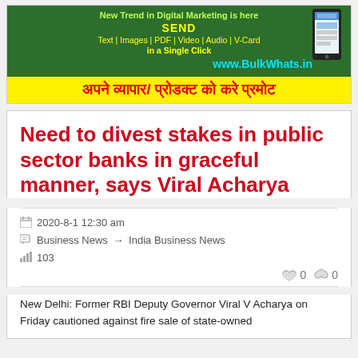[Figure (infographic): Advertisement banner for BulkWhats.in digital marketing service showing green background with phone image, yellow text promoting bulk WhatsApp messaging and Hindi text below on yellow background saying 'अपने व्यापार/ प्रोडक्ट को करे प्रमोट']
Need to divest stakes in public sector banks in graceful manner, says Viral Acharya
2020-8-1 12:30 am
Business News → India Business News
103
0  0
New Delhi: Former RBI Deputy Governor Viral V Acharya on Friday cautioned against fire sale of state-owned